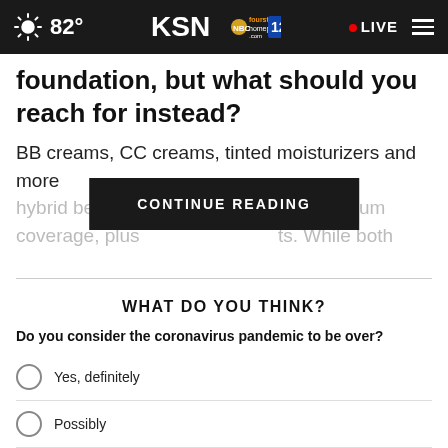82° KSN fourstates homepage.com 12 LIVE
foundation, but what should you reach for instead?
BB creams, CC creams, tinted moisturizers and more hybrid beauty p... medium coverage, plus... ts. While both
CONTINUE READING
WHAT DO YOU THINK?
Do you consider the coronavirus pandemic to be over?
Yes, definitely
Possibly
No, definitely not
Other / No opinion